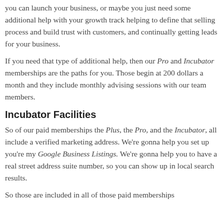you can launch your business, or maybe you just need some additional help with your growth track helping to define that selling process and build trust with customers, and continually getting leads for your business.
If you need that type of additional help, then our Pro and Incubator memberships are the paths for you. Those begin at 200 dollars a month and they include monthly advising sessions with our team members.
Incubator Facilities
So of our paid memberships the Plus, the Pro, and the Incubator, all include a verified marketing address. We're gonna help you set up you're my Google Business Listings. We're gonna help you to have a real street address suite number, so you can show up in local search results.
So those are included in all of those paid memberships